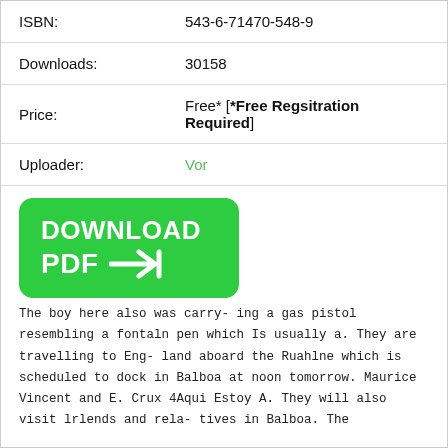| ISBN: | 543-6-71470-548-9 |
| Downloads: | 30158 |
| Price: | Free* [*Free Regsitration Required] |
| Uploader: | Vor |
[Figure (other): Green Download PDF button with arrow icon]
The boy here also was carry- ing a gas pistol resembling a fontaln pen which Is usually a. They are travelling to Eng- land aboard the Ruahlne which is scheduled to dock in Balboa at noon tomorrow. Maurice Vincent and E. Crux 4Aqui Estoy A. They will also visit lrlends and rela- tives in Balboa. The